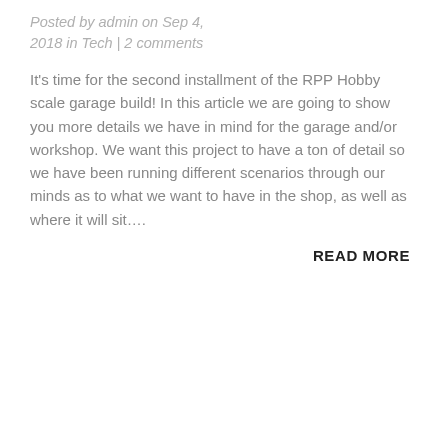Posted by admin on Sep 4, 2018 in Tech | 2 comments
It's time for the second installment of the RPP Hobby scale garage build! In this article we are going to show you more details we have in mind for the garage and/or workshop. We want this project to have a ton of detail so we have been running different scenarios through our minds as to what we want to have in the shop, as well as where it will sit….
READ MORE